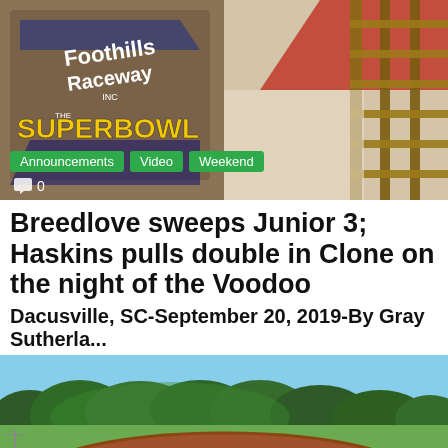[Figure (photo): Top photo collage: left side shows Foothills Raceway sign with 'The Superbowl' text in yellow, right side shows construction scaffolding with stone wall and red stripe]
Announcements
Video
Weekend
0
Breedlove sweeps Junior 3; Haskins pulls double in Clone on the night of the Voodoo
Dacusville, SC-September 20, 2019-By Gray Sutherla...
[Figure (photo): Aerial view of a dirt oval racing track surrounded by trees and hills under a blue sky]